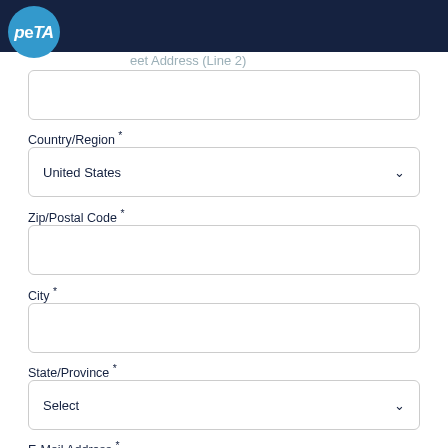PETA
eet Address (Line 2)
Country/Region *
United States
Zip/Postal Code *
City *
State/Province *
Select
E-Mail Address *